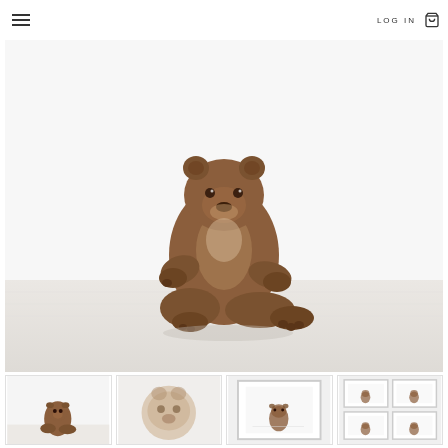LOG IN [cart icon]
[Figure (photo): A brown bear cub sitting upright on a light wooden floor against a white background, photographed in a studio setting.]
[Figure (photo): Thumbnail 1: Small brown bear cub sitting, same as main image.]
[Figure (photo): Thumbnail 2: Close-up of bear cub face, lighter/washed out tone.]
[Figure (photo): Thumbnail 3: Bear cub shown in a framed print, wider view.]
[Figure (photo): Thumbnail 4: Multiple framed prints of bear cub images shown together.]